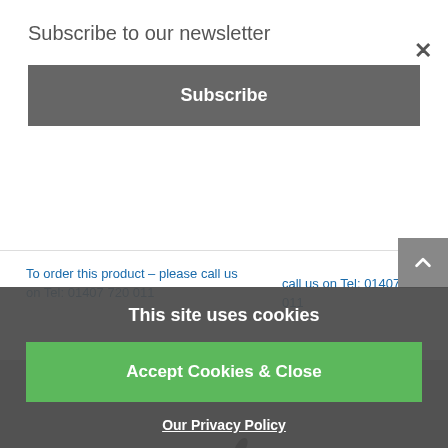Subscribe to our newsletter
Subscribe
To order this product – please call us on Tel: 01407 720 011
call us on Tel: 01407 720 011
[Figure (photo): Product photo showing a microphone gooseneck device and a black electronic device/toner cartridge on a grey background]
This site uses cookies
Accept Cookies & Close
Our Privacy Policy
Hand Operated...10DN/SG7100
Waste Ink Collector...Ricoh